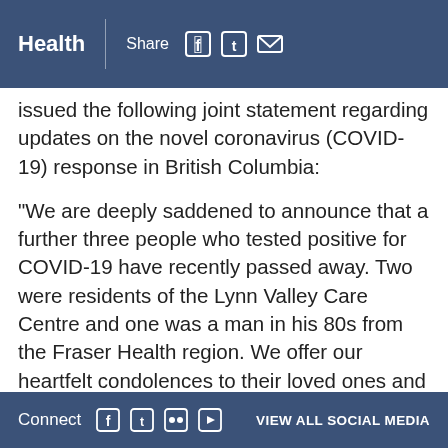Health | Share
issued the following joint statement regarding updates on the novel coronavirus (COVID-19) response in British Columbia:
"We are deeply saddened to announce that a further three people who tested positive for COVID-19 have recently passed away. Two were residents of the Lynn Valley Care Centre and one was a man in his 80s from the Fraser Health region. We offer our heartfelt condolences to their loved ones and the staff who cared for them.
“We are also announcing 83 new cases of COVID-19, for a total of 186 cases in British
Connect | VIEW ALL SOCIAL MEDIA